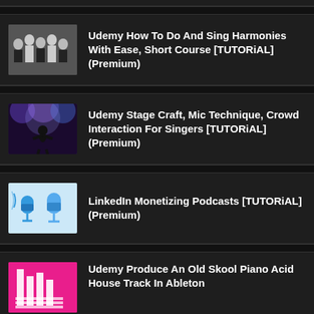Udemy How To Do And Sing Harmonies With Ease, Short Course [TUTORiAL] (Premium)
Udemy Stage Craft, Mic Technique, Crowd Interaction For Singers [TUTORiAL] (Premium)
LinkedIn Monetizing Podcasts [TUTORiAL] (Premium)
Udemy Produce An Old Skool Piano Acid House Track In Ableton